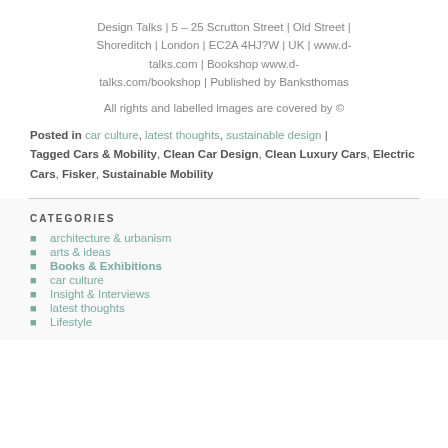Design Talks | 5 – 25 Scrutton Street | Old Street | Shoreditch | London | EC2A 4HJ?W | UK | www.d-talks.com | Bookshop www.d-talks.com/bookshop | Published by Banksthomas
All rights and labelled images are covered by ©
Posted in car culture, latest thoughts, sustainable design | Tagged Cars & Mobility, Clean Car Design, Clean Luxury Cars, Electric Cars, Fisker, Sustainable Mobility
CATEGORIES
architecture & urbanism
arts & ideas
Books & Exhibitions
car culture
Insight & Interviews
latest thoughts
Lifestyle